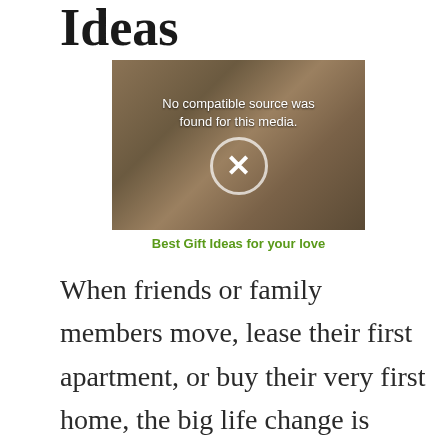Ideas
[Figure (screenshot): Video player showing cards/gifts in background with 'No compatible source was found for this media.' overlay text and an X circle icon]
Best Gift Ideas for your love
When friends or family members move, lease their first apartment, or buy their very first home, the big life change is often